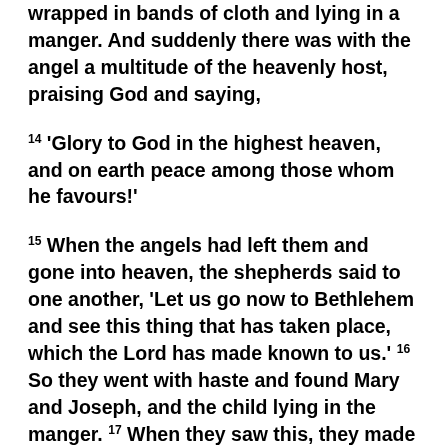wrapped in bands of cloth and lying in a manger. And suddenly there was with the angel a multitude of the heavenly host, praising God and saying,
14 'Glory to God in the highest heaven, and on earth peace among those whom he favours!'
15 When the angels had left them and gone into heaven, the shepherds said to one another, 'Let us go now to Bethlehem and see this thing that has taken place, which the Lord has made known to us.' 16 So they went with haste and found Mary and Joseph, and the child lying in the manger. 17 When they saw this, they made known what had been told them about this child; 18 and all who heard it were amazed at what the shepherds told them. 19 But Mary treasured all these words and pondered them in her heart. 20 The shepherds returned, glorifying